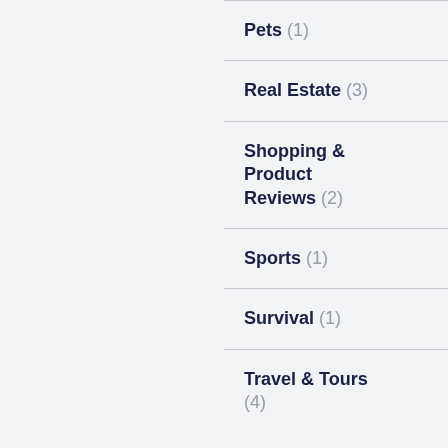Pets (1)
Real Estate (3)
Shopping & Product Reviews (2)
Sports (1)
Survival (1)
Travel & Tours (4)